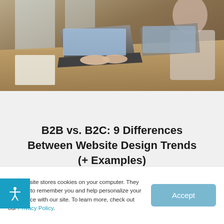[Figure (photo): Two people working on laptops at a desk in an office setting, viewed from above]
B2B vs. B2C: 9 Differences Between Website Design Trends (+ Examples)
[Figure (photo): Woman smiling at a camera on a tripod in a bright room, content creator setup]
Our website stores cookies on your computer. They allow us to remember you and help personalize your experience with our site. To learn more, check out our Privacy Policy.